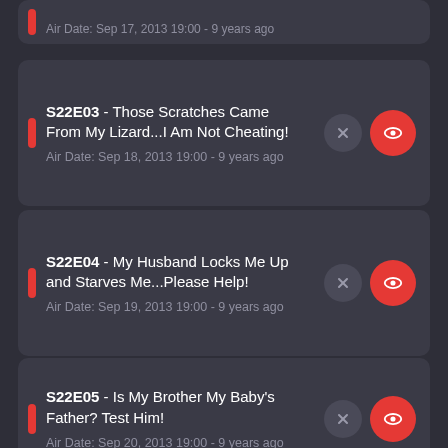Air Date: Sep 17, 2013 19:00 - 9 years ago
S22E03 - Those Scratches Came From My Lizard...I Am Not Cheating!
Air Date: Sep 18, 2013 19:00 - 9 years ago
S22E04 - My Husband Locks Me Up and Starves Me...Please Help!
Air Date: Sep 19, 2013 19:00 - 9 years ago
S22E05 - Is My Brother My Baby's Father? Test Him!
Air Date: Sep 20, 2013 19:00 - 9 years ago